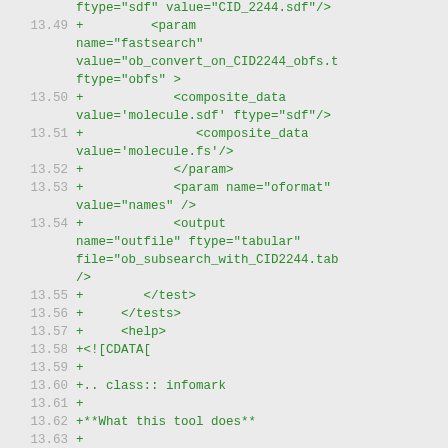Code diff showing XML tool configuration and help text lines 13.49 through 13.64